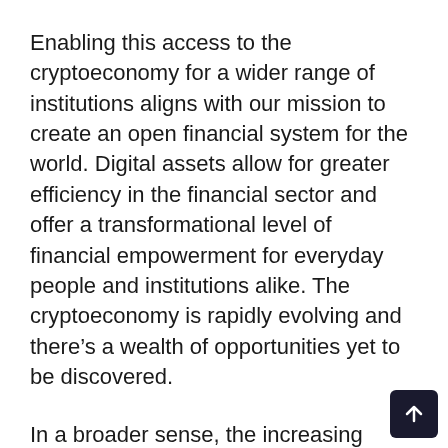Enabling this access to the cryptoeconomy for a wider range of institutions aligns with our mission to create an open financial system for the world. Digital assets allow for greater efficiency in the financial sector and offer a transformational level of financial empowerment for everyday people and institutions alike. The cryptoeconomy is rapidly evolving and there's a wealth of opportunities yet to be discovered.
In a broader sense, the increasing adoption of cryptocurrency by institutions illustrates how digital assets continue to permeate into mainstream business and finance. Digital assets are becoming a worldwide phenomenon with governments, companies and countries competing to establish themselves as leaders in the space. Coinbase lies at the heart of this, and we would like to take this